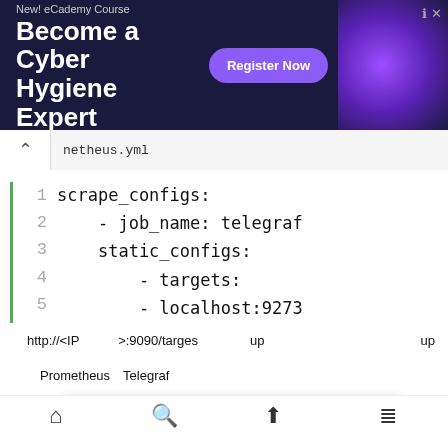[Figure (screenshot): Advertisement banner for eCademy Course 'Become a Cyber Hygiene Expert' with Register Now button]
netheus.yml (with Japanese characters)
Code block:
1  scrape_configs:
2      - job_name: telegraf
3        static_configs:
4            - targets:
5              - localhost:9273
http://<IP address>:9090/targes up (Japanese text) up (Japanese text)
Prometheus Telegraf (Japanese text)
[Figure (screenshot): Prometheus web UI showing Targets page with telegraf target listed]